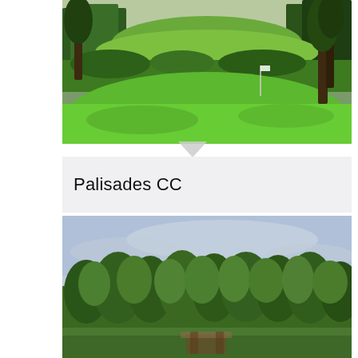[Figure (photo): A golf course scene with lush green fairway and putting green, surrounded by dense trees and shrubs. A flag pin is visible on the green. Sunlight filters through the trees in the background.]
Palisades CC
[Figure (photo): A wide landscape shot of a golf course or country club with dense pine and deciduous trees under a partly cloudy sky. A building structure is faintly visible at the bottom center through the trees.]